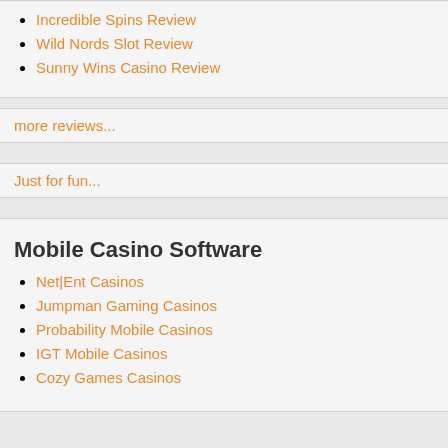Incredible Spins Review
Wild Nords Slot Review
Sunny Wins Casino Review
more reviews...
Just for fun...
Mobile Casino Software
Net|Ent Casinos
Jumpman Gaming Casinos
Probability Mobile Casinos
IGT Mobile Casinos
Cozy Games Casinos